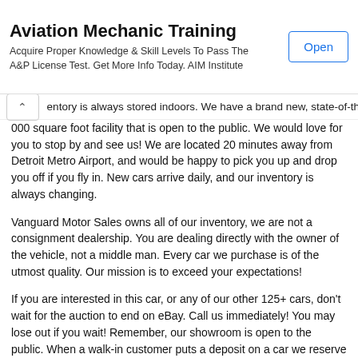[Figure (other): Advertisement banner for Aviation Mechanic Training by AIM Institute with an Open button]
entory is always stored indoors. We have a brand new, state-of-the-000 square foot facility that is open to the public. We would love for you to stop by and see us! We are located 20 minutes away from Detroit Metro Airport, and would be happy to pick you up and drop you off if you fly in. New cars arrive daily, and our inventory is always changing.
Vanguard Motor Sales owns all of our inventory, we are not a consignment dealership. You are dealing directly with the owner of the vehicle, not a middle man. Every car we purchase is of the utmost quality. Our mission is to exceed your expectations!
If you are interested in this car, or any of our other 125+ cars, don't wait for the auction to end on eBay. Call us immediately! You may lose out if you wait! Remember, our showroom is open to the public. When a walk-in customer puts a deposit on a car we reserve the right to close the eBay listing before the auction ends. If you think this car is "The One", we can end the auction by adding a "Buy It Now" to the auction for the reserve price. If an auction ends and the bids do not meet the reserve price, we will continue to relist it until it sells. Do not hesitate to contact Tom 7 days a week!
We take over 100 photographs of the car, as well as a high definition video, so you know exactly what to expect. We encourage you to hire an independent inspector to check out the car, prior to purchase or bidding. We have a hoist available for views of the undercarriage, and our mechanics are available to work with if you have any questions...